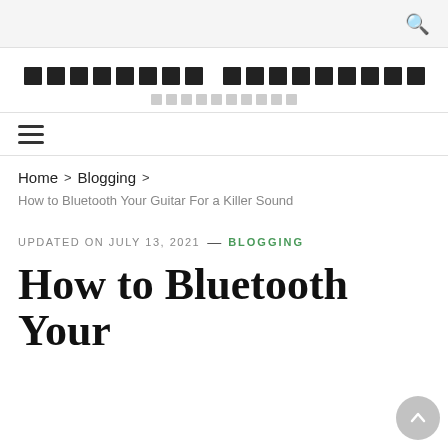Search icon in top bar
Site title with logo blocks
Site subtitle blocks
Navigation hamburger menu
Home > Blogging >
How to Bluetooth Your Guitar For a Killer Sound
UPDATED ON JULY 13, 2021 — BLOGGING
How to Bluetooth Your